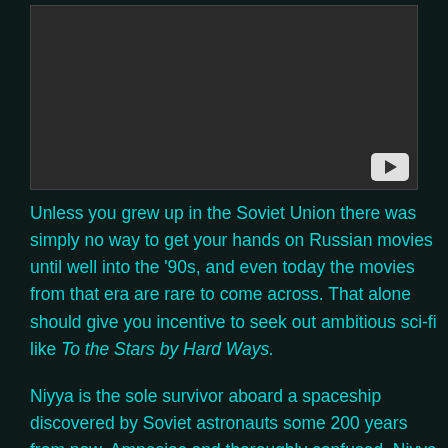[Figure (screenshot): Dark video thumbnail with a play button in the bottom-right corner]
Unless you grew up in the Soviet Union there was simply no way to get your hands on Russian movies until well into the '90s, and even today the movies from that era are rare to come across. That alone should give you incentive to seek out ambitious sci-fi like To the Stars by Hard Ways.
Niyya is the sole survivor aboard a spaceship discovered by Soviet astronauts some 200 years from now. Amnesiac and thoroughly confused, Niyya lives with Sergei, one of the scientists, and spends most of her time with his son Stepan. Niyya slowly develops strange powers and pieces together memories of Dessa, her home planet which has been ravaged by rapid industrialization, making it largely uninhabitable, leaving